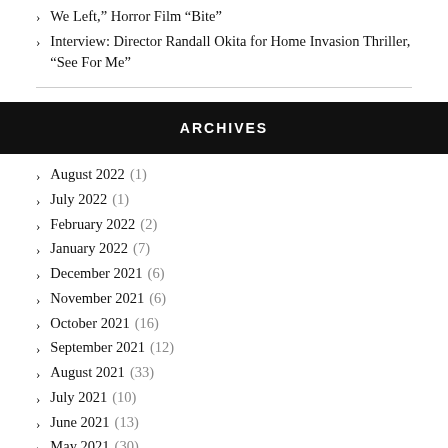We Left," Horror Film "Bite"
Interview: Director Randall Okita for Home Invasion Thriller, "See For Me"
ARCHIVES
August 2022 (1)
July 2022 (1)
February 2022 (2)
January 2022 (7)
December 2021 (6)
November 2021 (6)
October 2021 (16)
September 2021 (12)
August 2021 (33)
July 2021 (10)
June 2021 (13)
May 2021 (30)